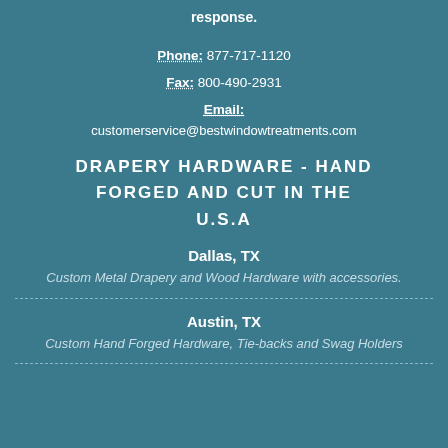response.
Phone: 877-717-1120
Fax: 800-490-2931
Email:
customerservice@bestwindowtreatments.com
DRAPERY HARDWARE - HAND FORGED AND CUT IN THE U.S.A
Dallas, TX
Custom Metal Drapery and Wood Hardware with accessories.
Austin, TX
Custom Hand Forged Hardware, Tie-backs and Swag Holders